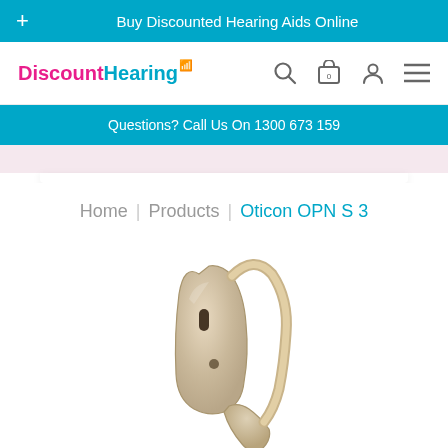Buy Discounted Hearing Aids Online
[Figure (logo): DiscountHearing logo with pink 'Discount' and teal 'Hearing' text and signal icon]
Questions? Call Us On 1300 673 159
Home | Products | Oticon OPN S 3
[Figure (photo): Oticon OPN S 3 hearing aid in beige/champagne color, behind-the-ear style, shown from the side]